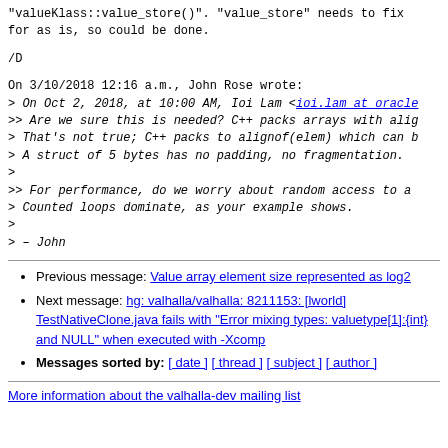"valueKlass::value_store()". "value_store" needs to fix for as is, so could be done.
/D
On 3/10/2018 12:16 a.m., John Rose wrote:
> On Oct 2, 2018, at 10:00 AM, Ioi Lam <ioi.lam at oracle...
>> Are we sure this is needed? C++ packs arrays with alig...
> That's not true; C++ packs to alignof(elem) which can b...
> A struct of 5 bytes has no padding, no fragmentation.
>
>> For performance, do we worry about random access to a...
> Counted loops dominate, as your example shows.
>
> - John
Previous message: Value array element size represented as log2
Next message: hg: valhalla/valhalla: 8211153: [lworld] TestNativeClone.java fails with "Error mixing types: valuetype[1]:{int} and NULL" when executed with -Xcomp
Messages sorted by: [ date ] [ thread ] [ subject ] [ author ]
More information about the valhalla-dev mailing list